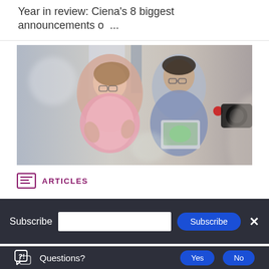Year in review: Ciena's 8 biggest announcements o ...
[Figure (photo): Two professionals, a woman in a pink floral top with glasses and a man in a blue shirt with glasses, having a conversation in a modern office setting. The man holds a tablet. A camera is partially visible in the foreground right.]
ARTICLES
Subscribe
Questions?
Yes
No